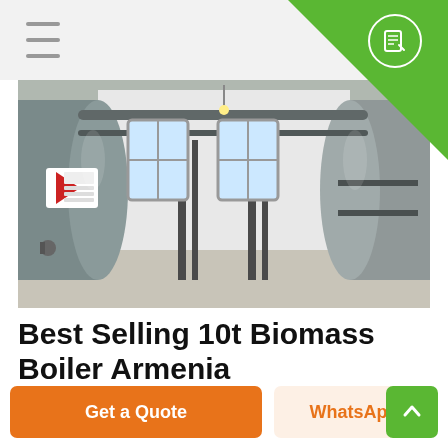[Figure (photo): Industrial boiler room with two large cylindrical horizontal boilers, pipes and fittings, concrete floor, windows in background. Chinese text visible on boiler logo.]
Best Selling 10t Biomass Boiler Armenia
Get a Quote
WhatsApp